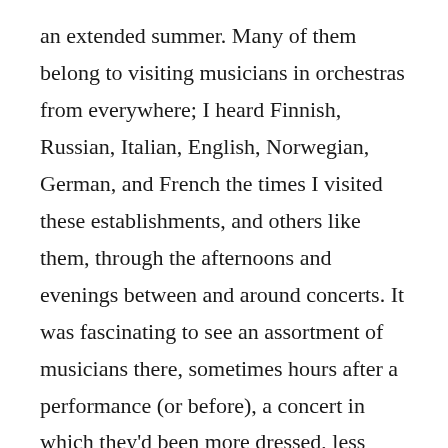an extended summer. Many of them belong to visiting musicians in orchestras from everywhere; I heard Finnish, Russian, Italian, English, Norwegian, German, and French the times I visited these establishments, and others like them, through the afternoons and evenings between and around concerts. It was fascinating to see an assortment of musicians there, sometimes hours after a performance (or before), a concert in which they'd been more dressed, less free, but oh, young, beautiful, eyeballing every move of maestro, as if on some kind of shabby-chic safari. Oh, to be a young musician in Bucharest on a sunny day or starry evening during the festival, sipping beer in a garden with fellow minstrels, gossiping about the soloist, fidgeting with hair, smirking at the Sala's notoriously poor acoustics, as the